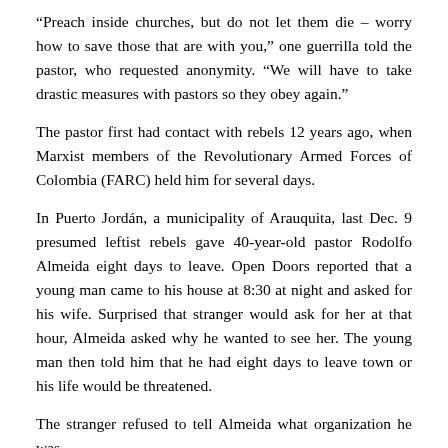“Preach inside churches, but do not let them die – worry how to save those that are with you,” one guerrilla told the pastor, who requested anonymity. “We will have to take drastic measures with pastors so they obey again.”
The pastor first had contact with rebels 12 years ago, when Marxist members of the Revolutionary Armed Forces of Colombia (FARC) held him for several days.
In Puerto Jordán, a municipality of Arauquita, last Dec. 9 presumed leftist rebels gave 40-year-old pastor Rodolfo Almeida eight days to leave. Open Doors reported that a young man came to his house at 8:30 at night and asked for his wife. Surprised that stranger would ask for her at that hour, Almeida asked why he wanted to see her. The young man then told him that he had eight days to leave town or his life would be threatened.
The stranger refused to tell Almeida what organization he was